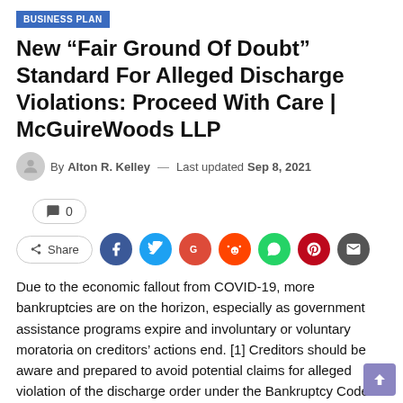BUSINESS PLAN
New “Fair Ground Of Doubt” Standard For Alleged Discharge Violations: Proceed With Care | McGuireWoods LLP
By Alton R. Kelley — Last updated Sep 8, 2021
0
Share
Due to the economic fallout from COVID-19, more bankruptcies are on the horizon, especially as government assistance programs expire and involuntary or voluntary moratoria on creditors’ actions end. [1] Creditors should be aware and prepared to avoid potential claims for alleged violation of the discharge order under the Bankruptcy Code and related